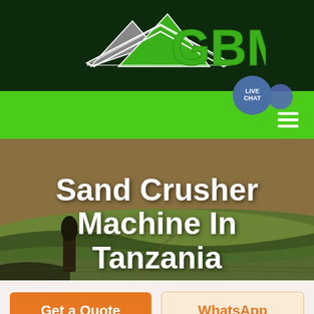[Figure (logo): GBM logo with mountain/arrow graphic and green GBM text on dark green background]
[Figure (screenshot): Green navigation bar with hamburger menu icon and Live Chat bubble]
[Figure (photo): Aerial landscape photo with rolling fields and trees, warm orange-green tones]
Sand Crusher Machine In Tanzania
Get a Quote
WhatsApp